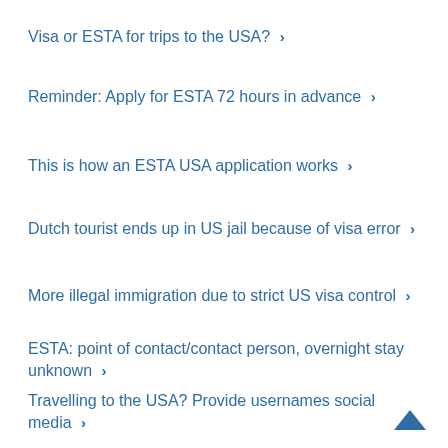Visa or ESTA for trips to the USA? >
Reminder: Apply for ESTA 72 hours in advance >
This is how an ESTA USA application works >
Dutch tourist ends up in US jail because of visa error >
More illegal immigration due to strict US visa control >
ESTA: point of contact/contact person, overnight stay unknown >
Travelling to the USA? Provide usernames social media >
[Figure (illustration): Scroll-to-top arrow icon in dark blue at bottom right corner]